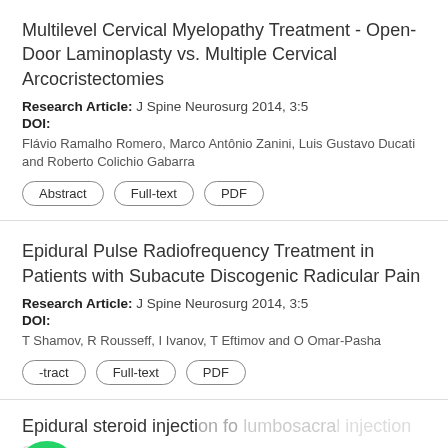Multilevel Cervical Myelopathy Treatment - Open-Door Laminoplasty vs. Multiple Cervical Arcocristectomies
Research Article: J Spine Neurosurg 2014, 3:5
DOI:
Flávio Ramalho Romero, Marco Antônio Zanini, Luis Gustavo Ducati and Roberto Colichio Gabarra
Epidural Pulse Radiofrequency Treatment in Patients with Subacute Discogenic Radicular Pain
Research Article: J Spine Neurosurg 2014, 3:5
DOI:
T Shamov, R Rousseff, I Ivanov, T Eftimov and O Omar-Pasha
Epidural steroid injection for lumbosacral radiculopathy